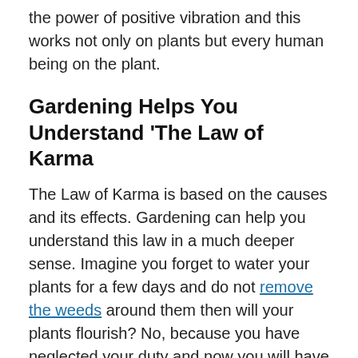the power of positive vibration and this works not only on plants but every human being on the plant.
Gardening Helps You Understand 'The Law of Karma
The Law of Karma is based on the causes and its effects. Gardening can help you understand this law in a much deeper sense. Imagine you forget to water your plants for a few days and do not remove the weeds around them then will your plants flourish? No, because you have neglected your duty and now you will have to accept the outcome.
m y o ou your soul by feeding it with positive thoughts and weeding out or removing